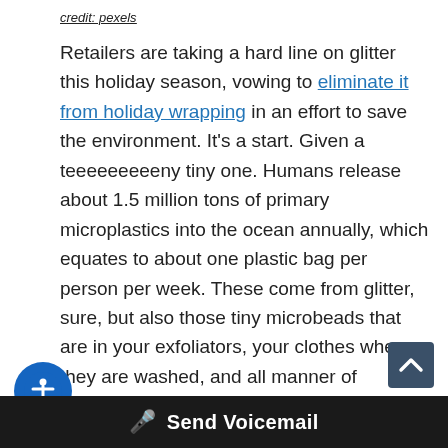credit: pexels
Retailers are taking a hard line on glitter this holiday season, vowing to eliminate it from holiday wrapping in an effort to save the environment. It's a start. Given a teeeeeeeeeny tiny one. Humans release about 1.5 million tons of primary microplastics into the ocean annually, which equates to about one plastic bag per person per week. These come from glitter, sure, but also those tiny microbeads that are in your exfoliators, your clothes when they are washed, and all manner of unexpected places. The number 2 cause of microplastics comes from bits of cars and tires that are washed from the road. Glitter is a very small piece of t…